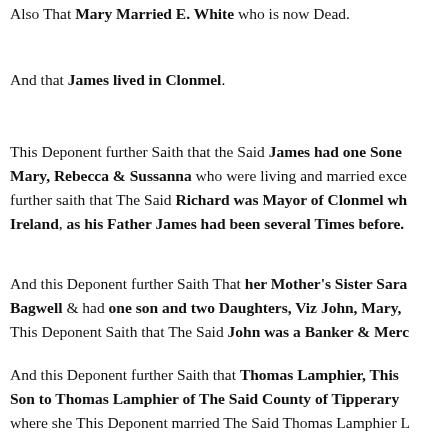Also That Mary Married E. White who is now Dead.
And that James lived in Clonmel.
This Deponent further Saith that the Said James had one Sone Mary, Rebecca & Sussanna who were living and married except further saith that The Said Richard was Mayor of Clonmel wh Ireland, as his Father James had been several Times before.
And this Deponent further Saith That her Mother's Sister Sara Bagwell & had one son and two Daughters, Viz John, Mary, This Deponent Saith that The Said John was a Banker & Merc
And this Deponent further Saith that Thomas Lamphier, This Son to Thomas Lamphier of The Said County of Tipperary where she This Deponent married The Said Thomas Lamphier L
This Deponent Saith That the Said Thomas Lamphier had by Elizabeth Kyle, Daughter to the aforesaid Mr. Kyle four Son